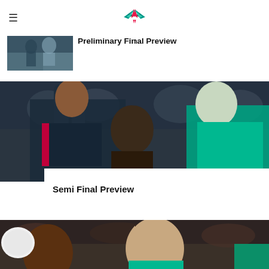[Figure (logo): Fox-like mascot logo in teal/green and pink/red colors]
[Figure (photo): Partial view of netball players, article thumbnail]
Preliminary Final Preview
[Figure (photo): Netball action shot: player in dark navy/red uniform shooting, opponent in teal/green uniform watching]
Semi Final Preview
[Figure (photo): Partial netball action photo at bottom of page, players in teal/green uniforms]